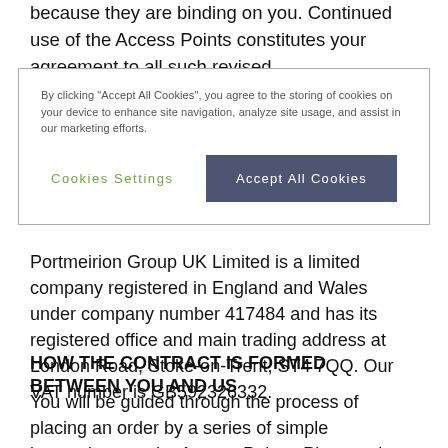because they are binding on you. Continued use of the Access Points constitutes your agreement to all such revised
[Figure (screenshot): Cookie consent banner with text: 'By clicking "Accept All Cookies", you agree to the storing of cookies on your device to enhance site navigation, analyze site usage, and assist in our marketing efforts.' with two buttons: 'Cookies Settings' (green text link) and 'Accept All Cookies' (dark blue-grey button).]
Portmeirion Group UK Limited is a limited company registered in England and Wales under company number 417484 and has its registered office and main trading address at London Road, Stoke-on-Trent, ST4 7QQ. Our VAT number is GB592326332.
HOW THE CONTRACT IS FORMED BETWEEN YOU AND US
You will be guided through the process of placing an order by a series of simple instructions on the Access Points. Please take the time to read and check your order at each stage of the order process.